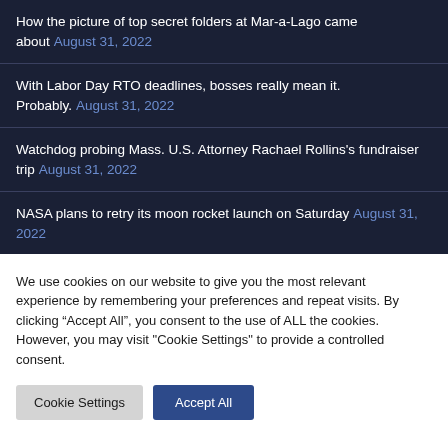How the picture of top secret folders at Mar-a-Lago came about August 31, 2022
With Labor Day RTO deadlines, bosses really mean it. Probably. August 31, 2022
Watchdog probing Mass. U.S. Attorney Rachael Rollins's fundraiser trip August 31, 2022
NASA plans to retry its moon rocket launch on Saturday August 31, 2022
We use cookies on our website to give you the most relevant experience by remembering your preferences and repeat visits. By clicking “Accept All”, you consent to the use of ALL the cookies. However, you may visit "Cookie Settings" to provide a controlled consent.